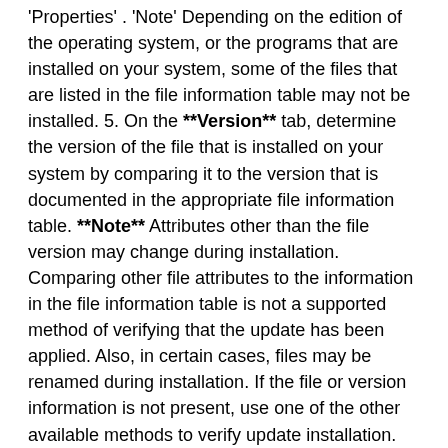'Properties' . 'Note' Depending on the edition of the operating system, or the programs that are installed on your system, some of the files that are listed in the file information table may not be installed. 5. On the **Version** tab, determine the version of the file that is installed on your system by comparing it to the version that is documented in the appropriate file information table. **Note** Attributes other than the file version may change during installation. Comparing other file attributes to the information in the file information table is not a supported method of verifying that the update has been applied. Also, in certain cases, files may be renamed during installation. If the file or version information is not present, use one of the other available methods to verify update installation. ### Other Information #### Acknowledgments Microsoft [thanks](http://go.microsoft.com/fwlink/?linkid=21127) the following for working with us to help protect customers: - Sunil Yadav of INR Labs ([Network Intelligence India]